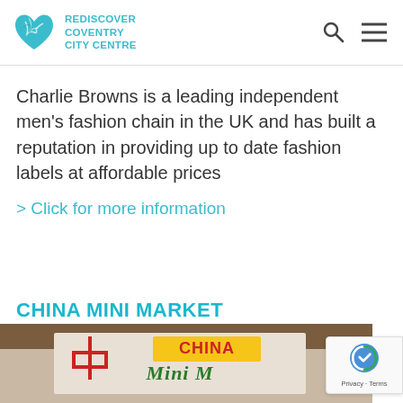[Figure (logo): Rediscover Coventry City Centre logo — teal heart shape with map/ribbon design on left, bold teal text REDISCOVER COVENTRY CITY CENTRE on right]
Charlie Browns is a leading independent men's fashion chain in the UK and has built a reputation in providing up to date fashion labels at affordable prices
> Click for more information
CHINA MINI MARKET
[Figure (photo): China Mini Market storefront sign — red Chinese character on left, 'CHINA' in red text on yellow background, 'Mini M...' in green script below, on a dark wood-toned background]